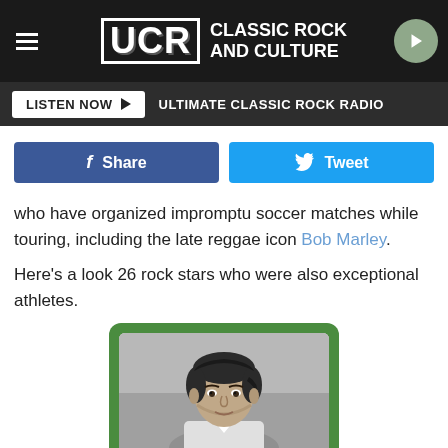UCR CLASSIC ROCK AND CULTURE
LISTEN NOW ▶ ULTIMATE CLASSIC ROCK RADIO
Share
Tweet
who have organized impromptu soccer matches while touring, including the late reggae icon Bob Marley.
Here's a look 26 rock stars who were also exceptional athletes.
[Figure (photo): Black and white portrait photo of a young man with medium-length dark hair, shown in a card with a green border]